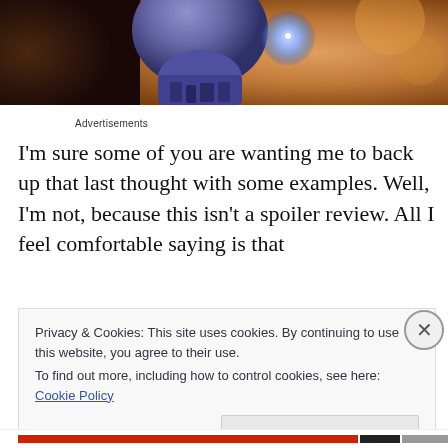[Figure (photo): Screenshot of a movie image showing Thanos from Avengers: Infinity War, with warm orange/brown background tones and a blue gauntlet glow]
Advertisements
I'm sure some of you are wanting me to back up that last thought with some examples.  Well, I'm not, because this isn't a spoiler review. All I feel comfortable saying is that
Privacy & Cookies: This site uses cookies. By continuing to use this website, you agree to their use.
To find out more, including how to control cookies, see here: Cookie Policy
Close and accept